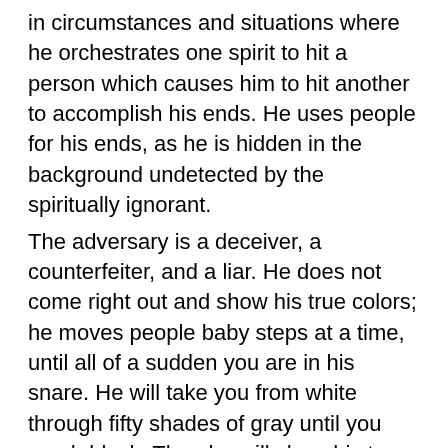in circumstances and situations where he orchestrates one spirit to hit a person which causes him to hit another to accomplish his ends. He uses people for his ends, as he is hidden in the background undetected by the spiritually ignorant.
The adversary is a deceiver, a counterfeiter, and a liar. He does not come right out and show his true colors; he moves people baby steps at a time, until all of a sudden you are in his snare. He will take you from white through fifty shades of gray until you reach black. Then he will show his true colors: he is a seducer, a deceiver. His “wisdom” is crafty and subtle. It is sensual, earthly, and devilish.
He works in every segment of society including